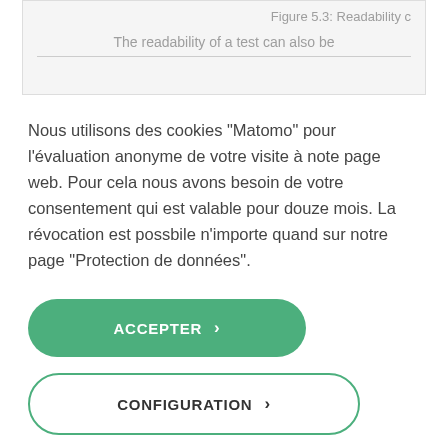Figure 5.3:  Readability c
The readability of a test can also be
Nous utilisons des cookies "Matomo" pour l'évaluation anonyme de votre visite à note page web. Pour cela nous avons besoin de votre consentement qui est valable pour douze mois. La révocation est possbile n'importe quand sur notre page "Protection de données".
ACCEPTER  >
CONFIGURATION  >